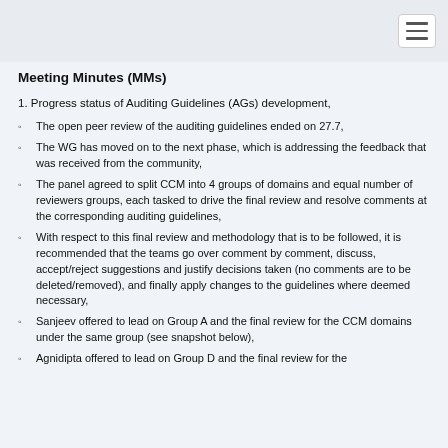[hamburger menu icon]
Meeting Minutes (MMs)
1. Progress status of Auditing Guidelines (AGs) development,
The open peer review of the auditing guidelines ended on 27.7,
The WG has moved on to the next phase, which is addressing the feedback that was received from the community,
The panel agreed to split CCM into 4 groups of domains and equal number of reviewers groups, each tasked to drive the final review and resolve comments at the corresponding auditing guidelines,
With respect to this final review and methodology that is to be followed, it is recommended that the teams go over comment by comment, discuss, accept/reject suggestions and justify decisions taken (no comments are to be deleted/removed), and finally apply changes to the guidelines where deemed necessary,
Sanjeev offered to lead on Group A and the final review for the CCM domains under the same group (see snapshot below),
Agnidipta offered to lead on Group D and the final review for the